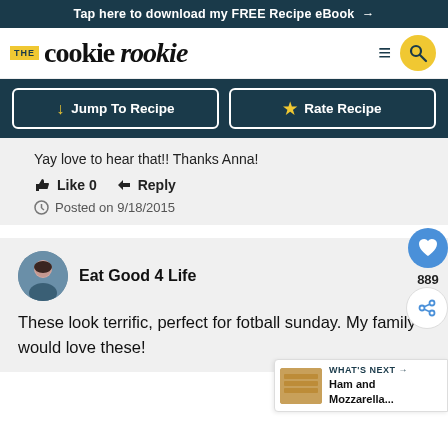Tap here to download my FREE Recipe eBook →
[Figure (logo): The Cookie Rookie logo with navigation icons]
Jump To Recipe | Rate Recipe
Yay love to hear that!! Thanks Anna!
Like 0   Reply   Posted on 9/18/2015
Eat Good 4 Life
These look terrific, perfect for fotball sunday. My family would love these!